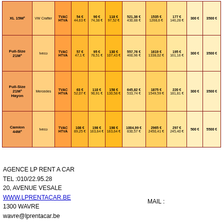| Vehicle | Brand | Tax | 1 day | 3 days | 1 week | 1 month | 6 months | Excess | Deposit 1 | Deposit 2 |
| --- | --- | --- | --- | --- | --- | --- | --- | --- | --- | --- |
| XL 15M³ | VW Crafter | TVAC
HTVA | 54 €
44,63 € | 90 €
74,38 € | 118 €
97,52 € | 521,36 €
430,88 € | 1535 €
1268,6 € | 177 €
146,28 € | 300 € | 3500 € |
| Full-Size 21M³ | Iveco | TVAC
HTVA | 57 €
47,1 € | 95 €
78,51 € | 130 €
107,43 € | 557,76 €
460,96 € | 1619 €
1338,02 € | 195 €
161,16 € | 300 € | 3500 € |
| Full-Size 21M³ Hayon | Mercedes | TVAC
HTVA | 63 €
52,07 € | 110 €
90,91 € | 158 €
130,58 € | 645,82 €
533,74 € | 1875 €
1549,59 € | 220 €
181,81 € | 300 € | 3500 € |
| Camion 44M³ | Iveco | TVAC
HTVA | 108 €
89,25 € | 198 €
163,64 € | 198 €
163,64 € | 1004,99 €
830,57 € | 2965 €
2450,41 € | 297 €
245,40 € | 500 € | 5500 € |
AGENCE LP RENT A CAR
TEL :010/22.95.28
20, AVENUE VESALE
WWW.LPRENTACAR.BE
1300 WAVRE
wavre@lprentacar.be
MAIL :